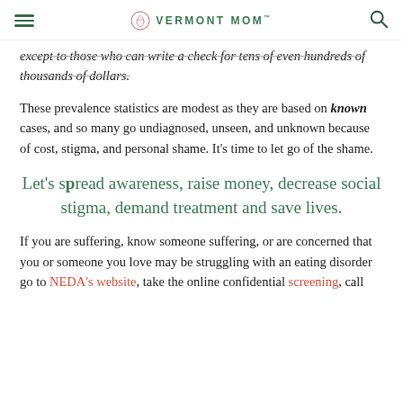VERMONT MOM
except to those who can write a check for tens of even hundreds of thousands of dollars.
These prevalence statistics are modest as they are based on known cases, and so many go undiagnosed, unseen, and unknown because of cost, stigma, and personal shame. It's time to let go of the shame.
Let’s spread awareness, raise money, decrease social stigma, demand treatment and save lives.
If you are suffering, know someone suffering, or are concerned that you or someone you love may be struggling with an eating disorder go to NEDA’s website, take the online confidential screening, call